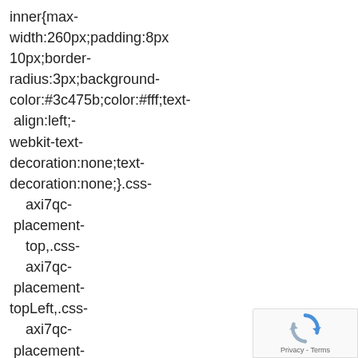inner{max-width:260px;padding:8px 10px;border-radius:3px;background-color:#3c475b;color:#fff;text-align:left;-webkit-text-decoration:none;text-decoration:none;}.css-axi7qc-placement-top,.css-axi7qc-placement-topLeft,.css-axi7qc-placement-topRight{padding:5px 0 4px;}.css-axi7qc-placement-right,.css-axi7qc-placement-rightTop,.css-
[Figure (other): reCAPTCHA badge with blue/grey circular arrow logo and 'Privacy - Terms' text]